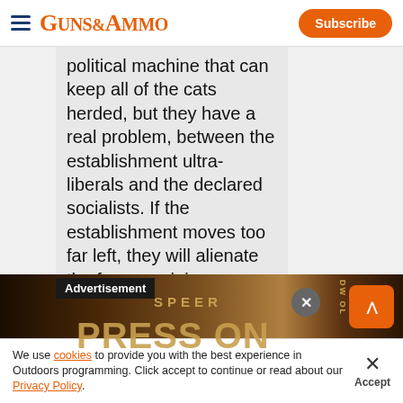GUNS&AMMO | Subscribe
political machine that can keep all of the cats herded, but they have a real problem, between the establishment ultra-liberals and the declared socialists. If the establishment moves too far left, they will alienate the few remaining moderates in the purple states, and if they
[Figure (photo): Speer ammunition advertisement banner showing PRESS ON text with sepia-toned firearms imagery]
We use cookies to provide you with the best experience in Outdoors programming. Click accept to continue or read about our Privacy Policy.